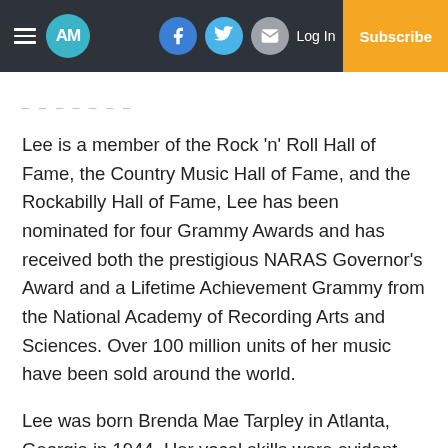AM | Log In | Subscribe
– – – – – – –
Lee is a member of the Rock 'n' Roll Hall of Fame, the Country Music Hall of Fame, and the Rockabilly Hall of Fame, Lee has been nominated for four Grammy Awards and has received both the prestigious NARAS Governor's Award and a Lifetime Achievement Grammy from the National Academy of Recording Arts and Sciences. Over 100 million units of her music have been sold around the world.
Lee was born Brenda Mae Tarpley in Atlanta, Georgia in 1944. Her vocal skills were evident early on, and she won her first talent contest at age five. She